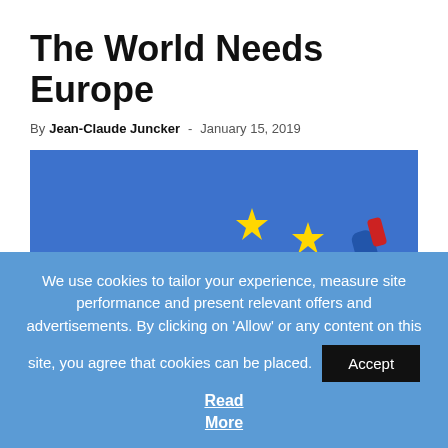The World Needs Europe
By Jean-Claude Juncker - January 15, 2019
[Figure (illustration): Illustration of a person in a blue outfit removing a star from the European Union flag, which has a blue background with yellow stars arranged in a circle. The person appears to be painting or erasing one of the stars in the upper right area of the flag.]
We use cookies to tailor your experience, measure site performance and present relevant offers and advertisements. By clicking on 'Allow' or any content on this site, you agree that cookies can be placed. Accept Read More